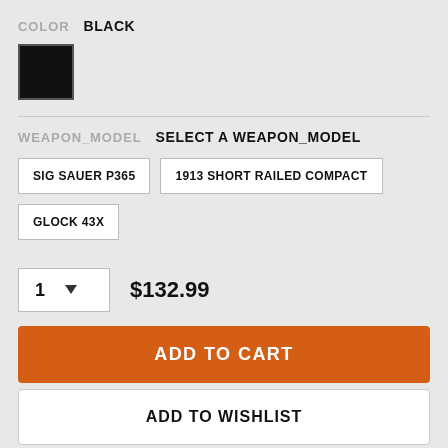COLOR  BLACK
[Figure (other): Black color swatch square]
WEAPON_MODEL  SELECT A WEAPON_MODEL
SIG SAUER P365
1913 SHORT RAILED COMPACT
GLOCK 43X
1  $132.99
ADD TO CART
ADD TO WISHLIST